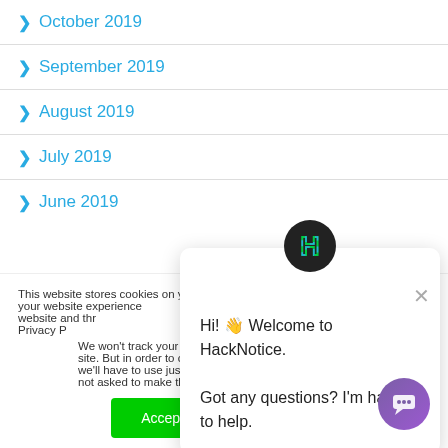> October 2019
> September 2019
> August 2019
> July 2019
> June 2019
This website stores cookies on your computer. These are used to improve your website experience you, both on this website and through cookies we use, see our Privacy P...
We won't track your site. But in order to c we'll have to use jus not asked to make this choice again.
Hi! 👋 Welcome to HackNotice. Got any questions? I'm happy to help.